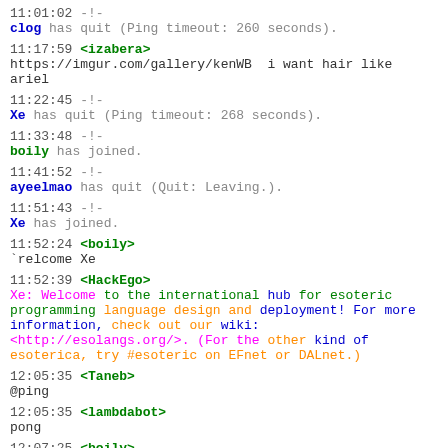11:01:02 -!-
clog has quit (Ping timeout: 260 seconds).
11:17:59 <izabera>
https://imgur.com/gallery/kenWB  i want hair like ariel
11:22:45 -!-
Xe has quit (Ping timeout: 268 seconds).
11:33:48 -!-
boily has joined.
11:41:52 -!-
ayeelmao has quit (Quit: Leaving.).
11:51:43 -!-
Xe has joined.
11:52:24 <boily>
`relcome Xe
11:52:39 <HackEgo>
Xe: Welcome to the international hub for esoteric programming language design and deployment! For more information, check out our wiki: <http://esolangs.org/>. (For the other kind of esoterica, try #esoteric on EFnet or DALnet.)
12:05:35 <Taneb>
@ping
12:05:35 <lambdabot>
pong
12:07:25 <boily>